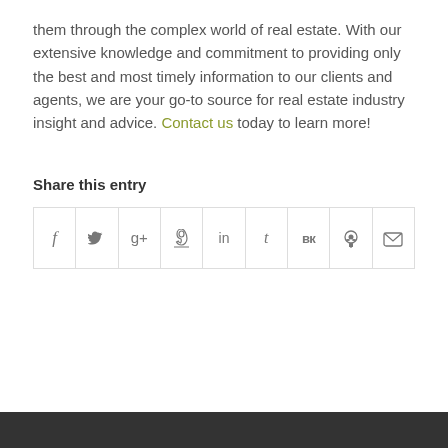them through the complex world of real estate. With our extensive knowledge and commitment to providing only the best and most timely information to our clients and agents, we are your go-to source for real estate industry insight and advice. Contact us today to learn more!
Share this entry
[Figure (other): Social sharing icon buttons: Facebook (f), Twitter (bird), Google+ (g+), Pinterest (p), LinkedIn (in), Tumblr (t), VK (vk), Reddit (alien), Email (envelope)]